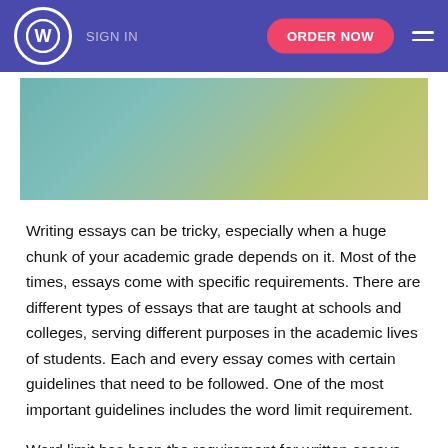SIGN IN  ORDER NOW
[Figure (photo): A blurred or gradient image banner with teal and olive tones serving as a decorative header image for an essay writing service webpage.]
Writing essays can be tricky, especially when a huge chunk of your academic grade depends on it. Most of the times, essays come with specific requirements. There are different types of essays that are taught at schools and colleges, serving different purposes in the academic lives of students. Each and every essay comes with certain guidelines that need to be followed. One of the most important guidelines includes the word limit requirement.
Word limit has been the requirement for written essays for